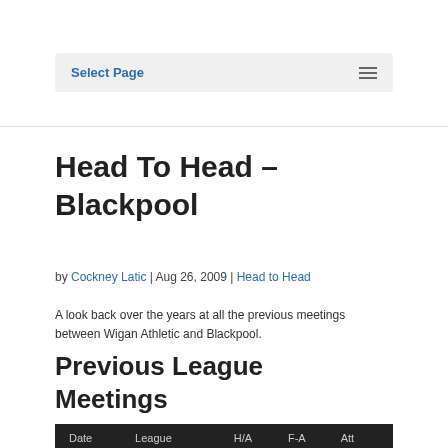Select Page
Head To Head – Blackpool
by Cockney Latic | Aug 26, 2009 | Head to Head
A look back over the years at all the previous meetings between Wigan Athletic and Blackpool.
Previous League Meetings
| Date | League | H/A | F-A | Att |
| --- | --- | --- | --- | --- |